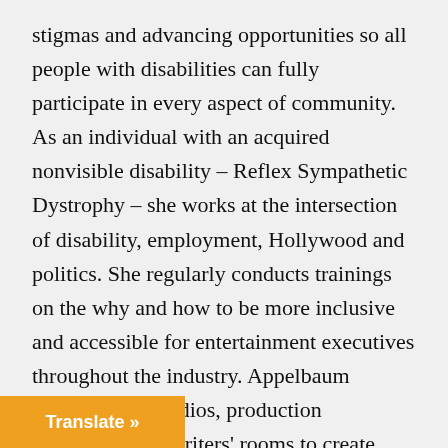stigmas and advancing opportunities so all people with disabilities can fully participate in every aspect of community. As an individual with an acquired nonvisible disability – Reflex Sympathetic Dystrophy – she works at the intersection of disability, employment, Hollywood and politics. She regularly conducts trainings on the why and how to be more inclusive and accessible for entertainment executives throughout the industry. Appelbaum partners with studios, production companies and writers' rooms to create equitable and accessible opportunities to increase the number of people with disability experience throughout the industry. The initiative